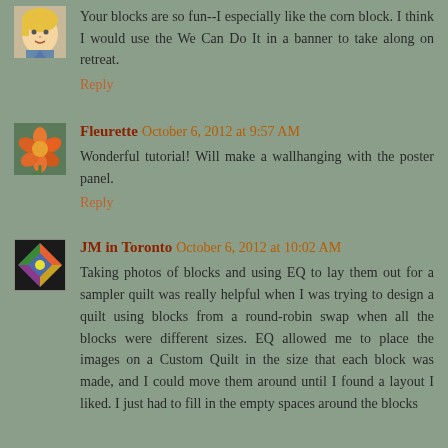[Figure (illustration): Cartoon avatar of a person with blonde hair]
Your blocks are so fun--I especially like the corn block. I think I would use the We Can Do It in a banner to take along on retreat.
Reply
[Figure (photo): Avatar photo showing orange flowers]
Fleurette  October 6, 2012 at 9:57 AM
Wonderful tutorial! Will make a wallhanging with the poster panel.
Reply
[Figure (illustration): Avatar image showing a colorful quilt block pattern]
JM in Toronto  October 6, 2012 at 10:02 AM
Taking photos of blocks and using EQ to lay them out for a sampler quilt was really helpful when I was trying to design a quilt using blocks from a round-robin swap when all the blocks were different sizes. EQ allowed me to place the images on a Custom Quilt in the size that each block was made, and I could move them around until I found a layout I liked. I just had to fill in the empty spaces around the blocks